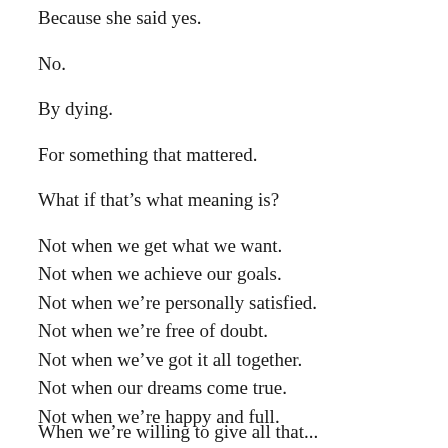Because she said yes.
No.
By dying.
For something that mattered.
What if that's what meaning is?
Not when we get what we want.
Not when we achieve our goals.
Not when we're personally satisfied.
Not when we're free of doubt.
Not when we've got it all together.
Not when our dreams come true.
Not when we're happy and full.
When we're willing to give all that...